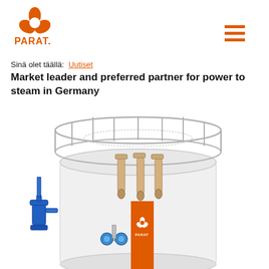[Figure (logo): PARAT orange logo mark (flower/petal shape) with PARAT. text in orange below]
[Figure (other): Hamburger menu icon - three orange horizontal lines stacked]
Sinä olet täällä:  Uutiset
Market leader and preferred partner for power to steam in Germany
[Figure (photo): Industrial electric steam boiler with cylindrical vessel, metal railing/cage on top showing internal heating elements, blue safety valve on lower left, PARAT branding orange stripe on front]